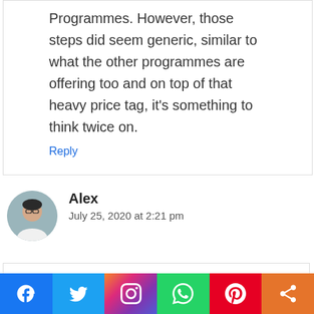Programmes. However, those steps did seem generic, similar to what the other programmes are offering too and on top of that heavy price tag, it's something to think twice on.
Reply
[Figure (photo): Avatar photo of commenter Alex, a person in a white shirt against a grey background]
Alex
July 25, 2020 at 2:21 pm
[Figure (other): Social sharing bar with Facebook, Twitter, Instagram, WhatsApp, Pinterest, and Share buttons]